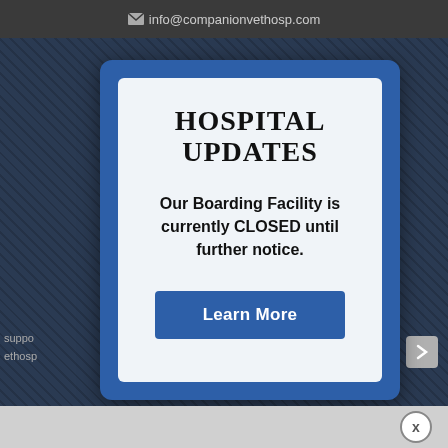info@companionvethosp.com
[Figure (screenshot): Website background with diagonal stripe pattern in dark navy blue]
HOSPITAL UPDATES
Our Boarding Facility is currently CLOSED until further notice.
Learn More
x